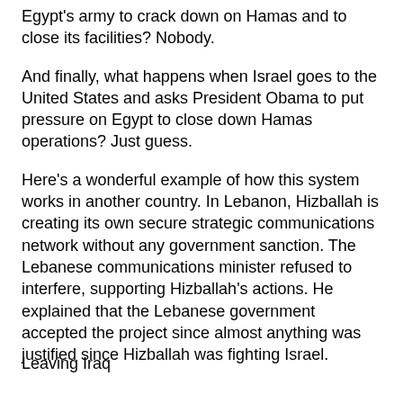Egypt's army to crack down on Hamas and to close its facilities? Nobody.
And finally, what happens when Israel goes to the United States and asks President Obama to put pressure on Egypt to close down Hamas operations? Just guess.
Here's a wonderful example of how this system works in another country. In Lebanon, Hizballah is creating its own secure strategic communications network without any government sanction. The Lebanese communications minister refused to interfere, supporting Hizballah's actions. He explained that the Lebanese government accepted the project since almost anything was justified since Hizballah was fighting Israel.
Leaving Iraq